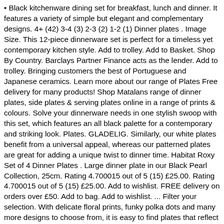• Black kitchenware dining set for breakfast, lunch and dinner. It features a variety of simple but elegant and complementary designs. 4+ (42) 3-4 (3) 2-3 (2) 1-2 (1) Dinner plates . Image Size. This 12-piece dinnerware set is perfect for a timeless yet contemporary kitchen style. Add to trolley. Add to Basket. Shop By Country. Barclays Partner Finance acts as the lender. Add to trolley. Bringing customers the best of Portuguese and Japanese ceramics. Learn more about our range of Plates Free delivery for many products! Shop Matalans range of dinner plates, side plates & serving plates online in a range of prints & colours. Solve your dinnerware needs in one stylish swoop with this set, which features an all black palette for a contemporary and striking look. Plates. GLADELIG. Similarly, our white plates benefit from a universal appeal, whereas our patterned plates are great for adding a unique twist to dinner time. Habitat Roxy Set of 4 Dinner Plates . Large dinner plate in our Black Pearl Collection, 25cm. Rating 4.700015 out of 5 (15) £25.00. Rating 4.700015 out of 5 (15) £25.00. Add to wishlist. FREE delivery on orders over £50. Add to bag. Add to wishlist. ... Filter your selection. With delicate floral prints, funky polka dots and many more designs to choose from, it is easy to find plates that reflect your personal sense of style. AQUA SPLASH OVAL PLATE 17X11CM. Home ... Clear Filters 141 Products New In (24) In Stock (118) Back In Stock